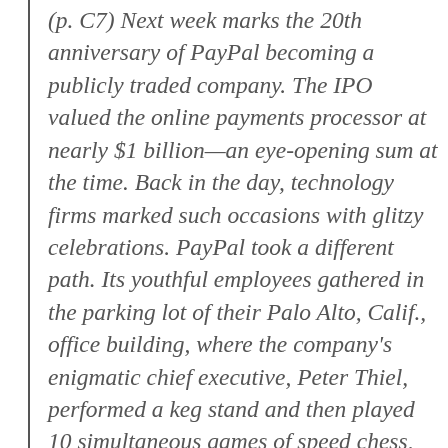(p. C7) Next week marks the 20th anniversary of PayPal becoming a publicly traded company. The IPO valued the online payments processor at nearly $1 billion—an eye-opening sum at the time. Back in the day, technology firms marked such occasions with glitzy celebrations. PayPal took a different path. Its youthful employees gathered in the parking lot of their Palo Alto, Calif., office building, where the company's enigmatic chief executive, Peter Thiel, performed a keg stand and then played 10 simultaneous games of speed chess, winning nine of them.